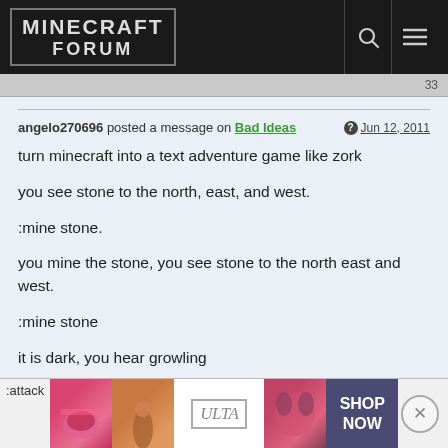MINECRAFT FORUM
angelo270696 posted a message on Bad Ideas  Jun 12, 2011
turn minecraft into a text adventure game like zork

you see stone to the north, east, and west.

:mine stone.

you mine the stone, you see stone to the north east and west.

:mine stone

it is dark, you hear growling

:place torch

you place a torch, you see a grue approach you.
:attack
[Figure (photo): ULTA beauty advertisement banner with makeup product images and SHOP NOW text]